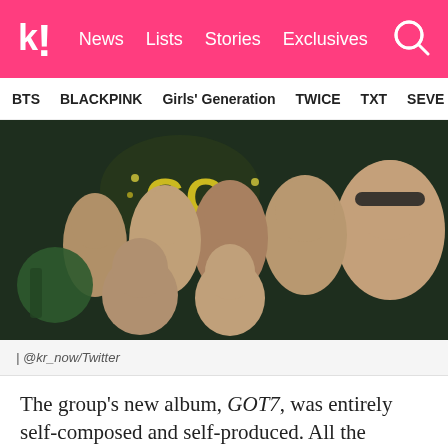k! News Lists Stories Exclusives
BTS  BLACKPINK  Girls' Generation  TWICE  TXT  SEVE
[Figure (photo): Group photo of GOT7 members making peace signs, dressed mostly in dark clothing, in front of a colorful lit backdrop]
| @kr_now/Twitter
The group's new album, GOT7, was entirely self-composed and self-produced. All the